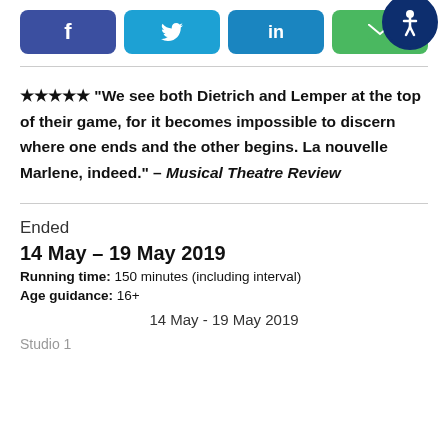[Figure (infographic): Social share buttons: Facebook (f), Twitter (bird), LinkedIn (in), Email (envelope icon), with accessibility icon top right (person in circle)]
★★★★★ "We see both Dietrich and Lemper at the top of their game, for it becomes impossible to discern where one ends and the other begins. La nouvelle Marlene, indeed." – Musical Theatre Review
Ended
14 May – 19 May 2019
Running time: 150 minutes (including interval)
Age guidance: 16+
14 May - 19 May 2019
Studio 1